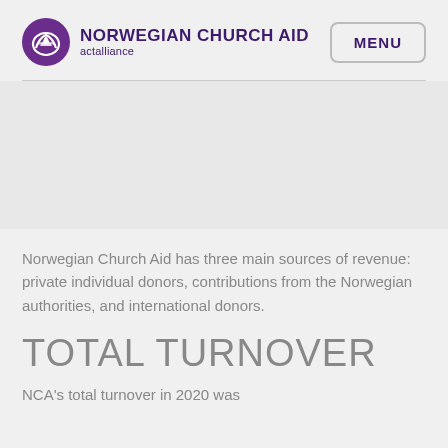NORWEGIAN CHURCH AID actalliance | MENU
Norwegian Church Aid has three main sources of revenue: private individual donors, contributions from the Norwegian authorities, and international donors.
TOTAL TURNOVER
NCA's total turnover in 2020 was